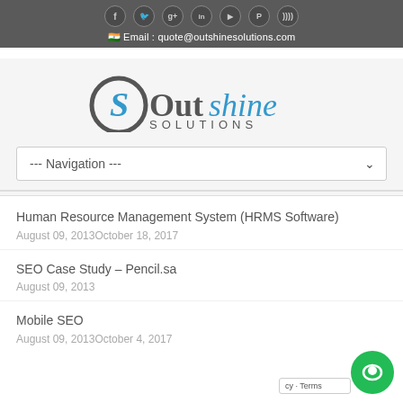Social icons: Facebook, Twitter, Google+, LinkedIn, YouTube, Pinterest, RSS
🇮🇳 Email : quote@outshinesolutions.com
[Figure (logo): Outshine Solutions logo with stylized 'OS' monogram and blue/gray text]
--- Navigation ---
Human Resource Management System (HRMS Software)
August 09, 2013October 18, 2017
SEO Case Study – Pencil.sa
August 09, 2013
Mobile SEO
August 09, 2013October 4, 2017